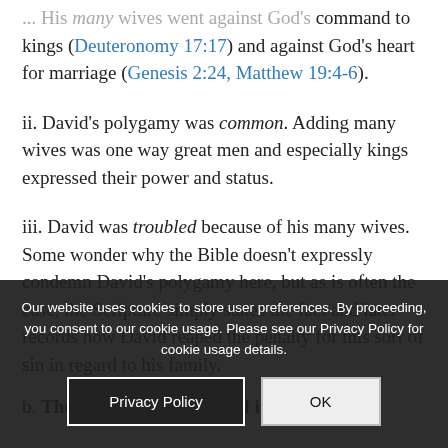... His many wives went against God's command to kings (Deuteronomy 17:17) and against God's heart for marriage (Genesis 2:24, Matthew 19:4-6).
ii. David's polygamy was common. Adding many wives was one way great men and especially kings expressed their power and status.
iii. David was troubled because of his many wives. Some wonder why the Bible doesn't expressly condemn David's polygamy here, but as is often the case, the Scripture simply states the fact and later records how David reaped the penalty for this sort of sin in regard to his family.
b. These were born to David in Hebron: We
Our website uses cookies to store user preferences. By proceeding, you consent to our cookie usage. Please see our Privacy Policy for cookie usage details.